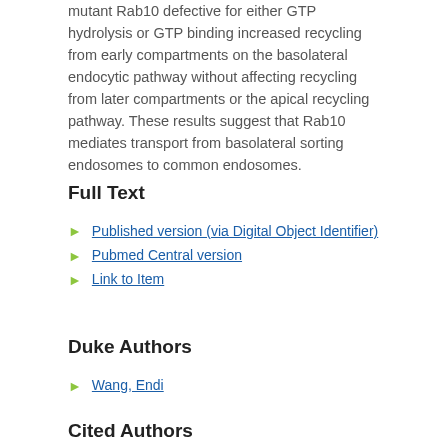mutant Rab10 defective for either GTP hydrolysis or GTP binding increased recycling from early compartments on the basolateral endocytic pathway without affecting recycling from later compartments or the apical recycling pathway. These results suggest that Rab10 mediates transport from basolateral sorting endosomes to common endosomes.
Full Text
Published version (via Digital Object Identifier)
Pubmed Central version
Link to Item
Duke Authors
Wang, Endi
Cited Authors